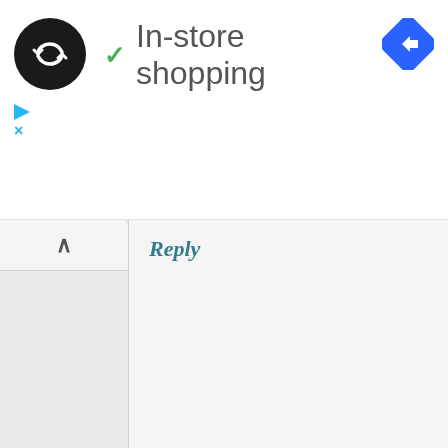[Figure (logo): Black circle logo with double arrow/infinity-like symbol in white]
In-store shopping
[Figure (other): Blue diamond-shaped navigation/directions icon with white arrow]
[Figure (other): Small play triangle icon and X icon in cyan/light blue]
Reply